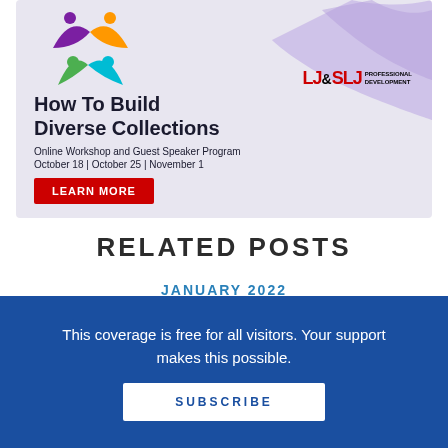[Figure (illustration): LJ & SLJ Professional Development advertisement banner for 'How To Build Diverse Collections' online workshop. Features a colorful diversity icon (circular figures in green, purple, orange, teal) on a lavender background with purple wave decoration. Includes LJ&SLJ logo, workshop title, subtitle, dates, and a red Learn More button.]
RELATED POSTS
JANUARY 2022
This coverage is free for all visitors. Your support makes this possible.
SUBSCRIBE